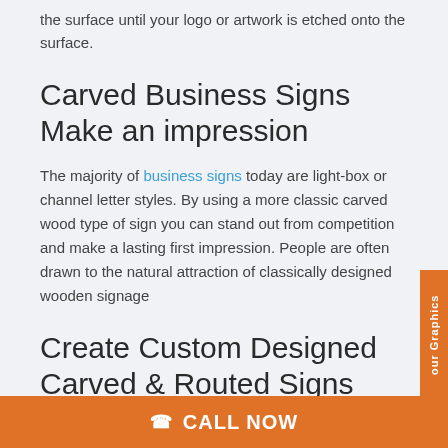the surface until your logo or artwork is etched onto the surface.
Carved Business Signs Make an impression
The majority of business signs today are light-box or channel letter styles. By using a more classic carved wood type of sign you can stand out from competition and make a lasting first impression. People are often drawn to the natural attraction of classically designed wooden signage
Create Custom Designed Carved & Routed Signs
If you would like more information on custom carved & routed signs contact Valle Sign Corp today. We proudly service the entire Dallas / Fort Worth area of
CALL NOW